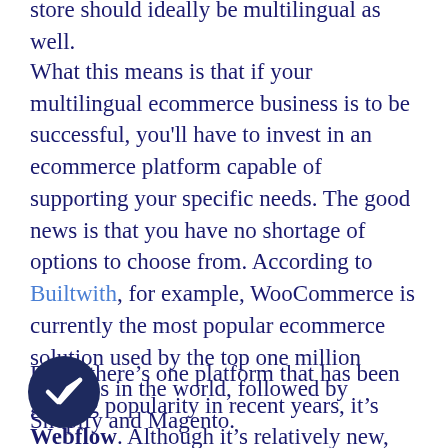store should ideally be multilingual as well.
What this means is that if your multilingual ecommerce business is to be successful, you'll have to invest in an ecommerce platform capable of supporting your specific needs. The good news is that you have no shortage of options to choose from. According to Builtwith, for example, WooCommerce is currently the most popular ecommerce solution used by the top one million websites in the world, followed by Shopify and Magento.
But if there's one platform that has been gaining popularity in recent years, it's Webflow. Although it's relatively new, Webflow has been gaining rave